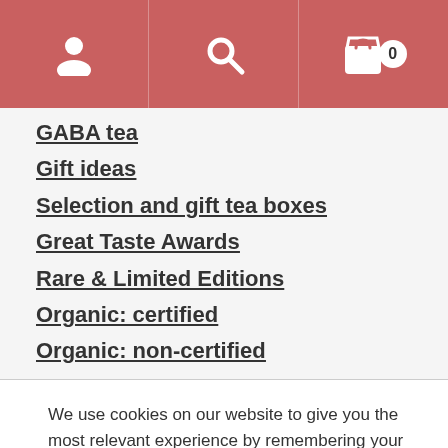[Figure (other): Navigation header bar with user icon, search icon, and shopping basket icon with badge showing 0]
GABA tea
Gift ideas
Selection and gift tea boxes
Great Taste Awards
Rare & Limited Editions
Organic: certified
Organic: non-certified
We use cookies on our website to give you the most relevant experience by remembering your preferences and repeat visits. By clicking “Accept All”, you consent to the use of ALL the cookies. However, you may visit "Cookie Settings" to provide a controlled consent.
Cookie Settings | Accept All